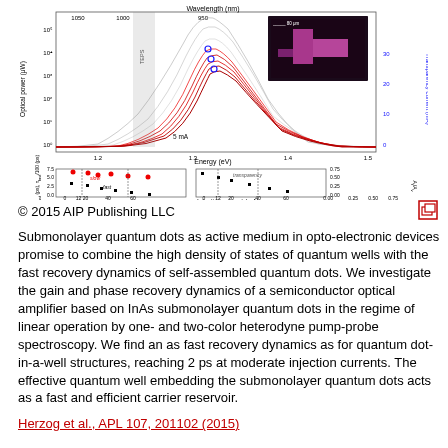[Figure (other): Two-panel scientific figure showing optical spectra and dynamics of submonolayer quantum dot semiconductor optical amplifier. Top panel: optical power vs energy (eV) spectra at various injection currents (5mA to 60mA) with wavelength (nm) axis on top and transparency current axis on right. Inset photo of device. Bottom panels: left shows carrier recovery times (ps) vs injection current (mA) with slow and fast components (red circles and black squares); right shows transparency A_v/A_t vs injection current (mA).]
© 2015 AIP Publishing LLC
Submonolayer quantum dots as active medium in opto-electronic devices promise to combine the high density of states of quantum wells with the fast recovery dynamics of self-assembled quantum dots. We investigate the gain and phase recovery dynamics of a semiconductor optical amplifier based on InAs submonolayer quantum dots in the regime of linear operation by one- and two-color heterodyne pump-probe spectroscopy. We find an as fast recovery dynamics as for quantum dot-in-a-well structures, reaching 2 ps at moderate injection currents. The effective quantum well embedding the submonolayer quantum dots acts as a fast and efficient carrier reservoir.
Herzog et al., APL 107, 201102 (2015)